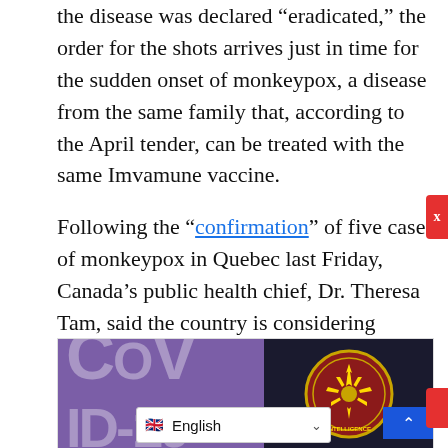the disease was declared “eradicated,” the order for the shots arrives just in time for the sudden onset of monkeypox, a disease from the same family that, according to the April tender, can be treated with the same Imvamune vaccine.
Following the “confirmation” of five cases of monkeypox in Quebec last Friday, Canada’s public health chief, Dr. Theresa Tam, said the country is considering utilizing smallpox vaccine doses to limit the spread of the rare disease.
[Figure (photo): A composite image showing a purple background with large faded text 'COVID-19' on the left and a Chinese intelligence/CIA-style emblem on dark background on the right, with an English language selector bar and a blue scroll-up button overlay.]